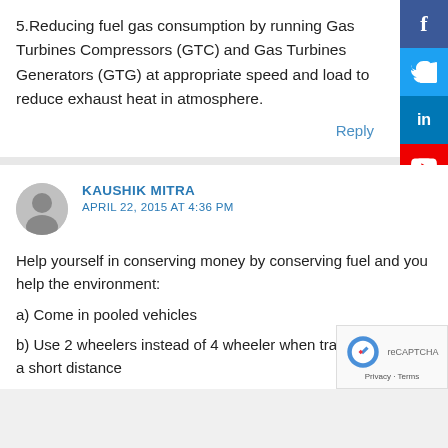5.Reducing fuel gas consumption by running Gas Turbines Compressors (GTC) and Gas Turbines Generators (GTG) at appropriate speed and load to reduce exhaust heat in atmosphere.
Reply
KAUSHIK MITRA
APRIL 22, 2015 AT 4:36 PM
Help yourself in conserving money by conserving fuel and you help the environment:
a) Come in pooled vehicles
b) Use 2 wheelers instead of 4 wheeler when travelling a and a short distance